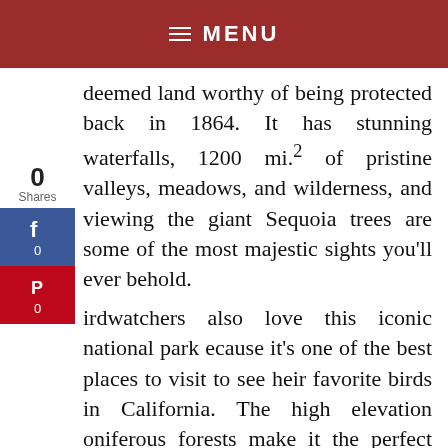MENU
deemed land worthy of being protected back in 1864. It has stunning waterfalls, 1200 mi.² of pristine valleys, meadows, and wilderness, and viewing the giant Sequoia trees are some of the most majestic sights you'll ever behold.
Birdwatchers also love this iconic national park because it's one of the best places to visit to see their favorite birds in California. The high elevation coniferous forests make it the perfect location for bird habitats.
Location:
[Figure (screenshot): Vrbo advertisement showing a vacation home with mountains in background and text: Vacation homes for whoever you call family. Find yours button.]